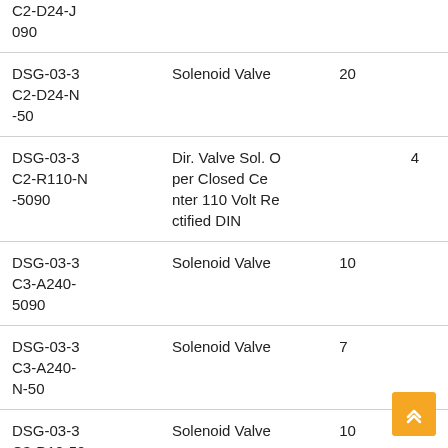| C2-D24-J090 |  |  |  |
| DSG-03-3C2-D24-N-50 | Solenoid Valve | 20 |  |
| DSG-03-3C2-R110-N-5090 | Dir. Valve Sol. Oper Closed Center 110 Volt Rectified DIN |  | 4 |
| DSG-03-3C3-A240-5090 | Solenoid Valve | 10 |  |
| DSG-03-3C3-A240-N-50 | Solenoid Valve | 7 |  |
| DSG-03-3C3-D12-5090 | Solenoid Valve | 10 |  |